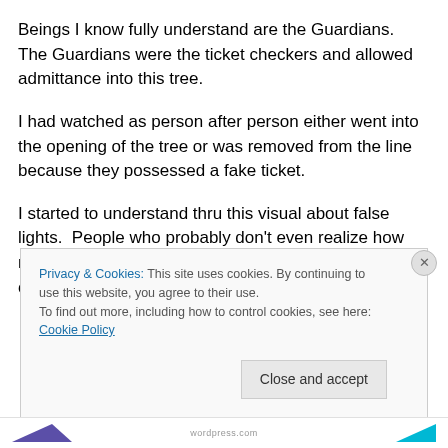Beings I know fully understand are the Guardians. The Guardians were the ticket checkers and allowed admittance into this tree.
I had watched as person after person either went into the opening of the tree or was removed from the line because they possessed a fake ticket.
I started to understand thru this visual about false lights. People who probably don't even realize how much of their own ego is embedded in their Light. My own journey of
Privacy & Cookies: This site uses cookies. By continuing to use this website, you agree to their use.
To find out more, including how to control cookies, see here: Cookie Policy
Close and accept
wordpress.com